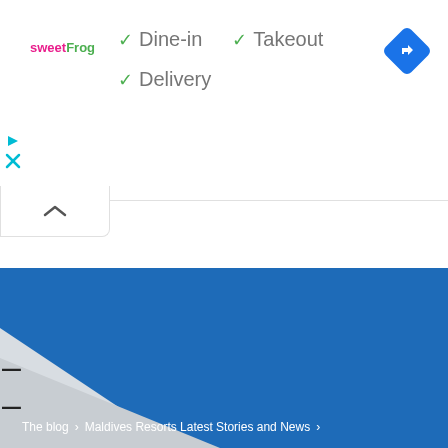[Figure (logo): sweetFrog logo in pink and green text]
✓ Dine-in  ✓ Takeout
✓ Delivery
[Figure (illustration): Blue diamond-shaped Google Maps navigation icon with right-turn arrow]
[Figure (illustration): Small cyan play triangle icon]
[Figure (illustration): Small cyan X/close icon]
[Figure (illustration): Collapse/chevron up button]
[Figure (photo): Partial photo showing a white surface against a blue sky background, with a minus or dash symbol visible at left edge]
The blog  >  Maldives Resorts Latest Stories and News  >